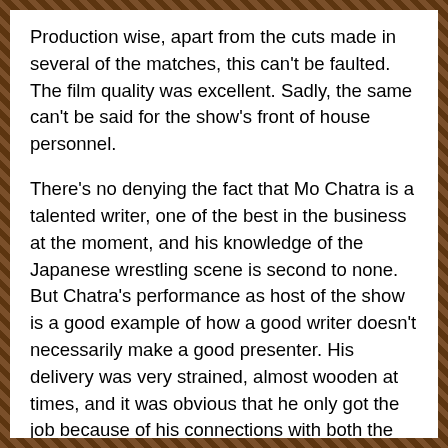Production wise, apart from the cuts made in several of the matches, this can't be faulted. The film quality was excellent. Sadly, the same can't be said for the show's front of house personnel.
There's no denying the fact that Mo Chatra is a talented writer, one of the best in the business at the moment, and his knowledge of the Japanese wrestling scene is second to none. But Chatra's performance as host of the show is a good example of how a good writer doesn't necessarily make a good presenter. His delivery was very strained, almost wooden at times, and it was obvious that he only got the job because of his connections with both the FWA and The Wrestling Channel.
As for the commentators, John Atkins and Don